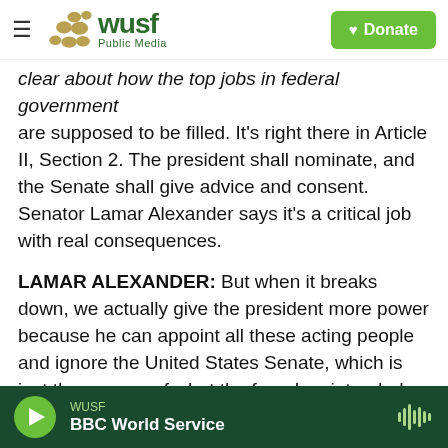[Figure (logo): WUSF Public Media logo with olive/gold dot pattern and green text, plus a green Donate button with heart icon]
clear about how the top jobs in federal government are supposed to be filled. It's right there in Article II, Section 2. The president shall nominate, and the Senate shall give advice and consent. Senator Lamar Alexander says it's a critical job with real consequences.
LAMAR ALEXANDER: But when it breaks down, we actually give the president more power because he can appoint all these acting people and ignore the United States Senate, which is just the reverse of what the founders intended.
SNELL: But the Tennessee Republican says that's
[Figure (other): WUSF audio player bar at bottom: green play button, WUSF label, BBC World Service show title, audio waveform icon on right]